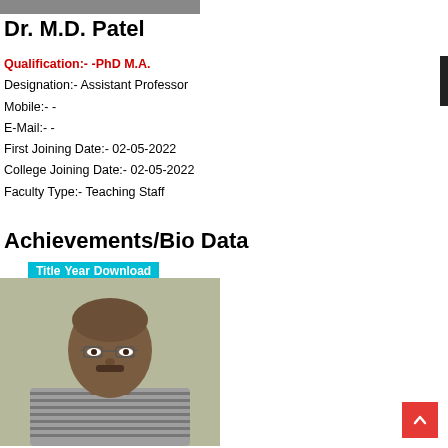[Figure (photo): Partial top strip showing a photo banner]
Dr. M.D. Patel
Qualification:-  -PhD M.A.
Designation:-  Assistant Professor
Mobile:-  -
E-Mail:-  -
First Joining Date:-  02-05-2022
College Joining Date:-  02-05-2022
Faculty Type:-  Teaching Staff
Achievements/Bio Data
| Title | Year | Download |
| --- | --- | --- |
[Figure (photo): Portrait photo of Dr. M.D. Patel, a middle-aged man wearing glasses and a striped shirt]